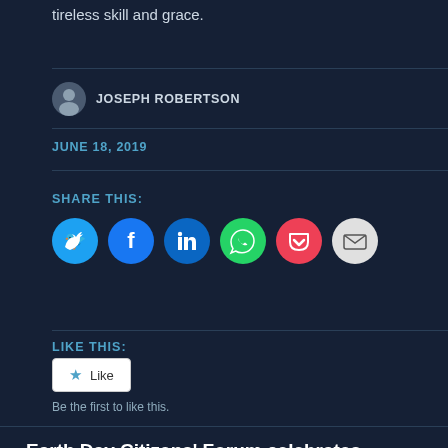tireless skill and grace.
JOSEPH ROBERTSON
JUNE 18, 2019
SHARE THIS:
[Figure (infographic): Social share buttons: Twitter (blue), Facebook (blue), LinkedIn (blue), WhatsApp (green), Pocket (red), Email (light grey)]
LIKE THIS:
[Figure (infographic): Like button widget with star icon and text 'Like']
Be the first to like this.
Earth Day Citizens’ Forum celebrates volunteer policy advocates